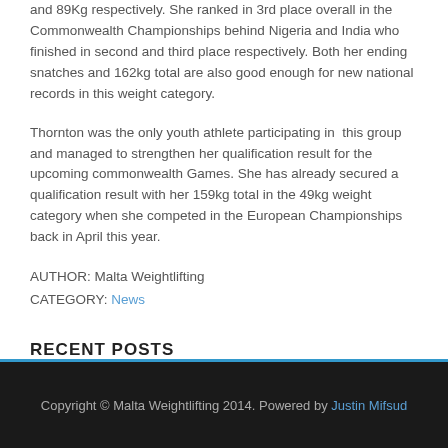and 89Kg respectively. She ranked in 3rd place overall in the Commonwealth Championships behind Nigeria and India who finished in second and third place respectively. Both her ending snatches and 162kg total are also good enough for new national records in this weight category.
Thornton was the only youth athlete participating in this group and managed to strengthen her qualification result for the upcoming commonwealth Games. She has already secured a qualification result with her 159kg total in the 49kg weight category when she competed in the European Championships back in April this year.
AUTHOR: Malta Weightlifting
CATEGORY: News
RECENT POSTS
Tenisha Thornton World Champion
Copyright © Malta Weightlifting 2014. Powered by Justin Mifsud